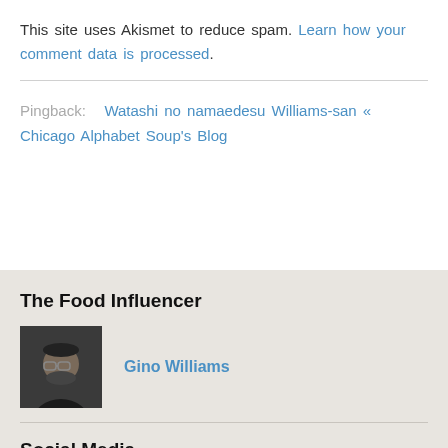This site uses Akismet to reduce spam. Learn how your comment data is processed.
Pingback: Watashi no namaedesu Williams-san « Chicago Alphabet Soup's Blog
The Food Influencer
Gino Williams
Social Media